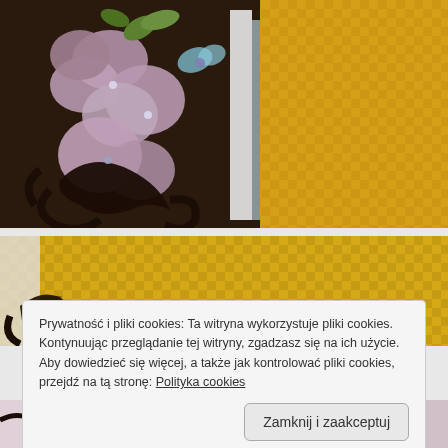[Figure (photo): Close-up of a handmade greeting card with purple hydrangea flowers, decorative dark swirl die-cut, butterfly embellishment, and yellow gingham patterned paper background.]
[Figure (photo): Partial view of a handmade card showing yellow gingham paper and decorative swirl element with script initial.]
Prywatność i pliki cookies: Ta witryna wykorzystuje pliki cookies. Kontynuując przeglądanie tej witryny, zgadzasz się na ich użycie. Aby dowiedzieć się więcej, a także jak kontrolować pliki cookies, przejdź na tą stronę: Polityka cookies
Zamknij i zaakceptuj
[Figure (photo): Bottom strip showing another handmade card with pink flowers and decorative elements.]